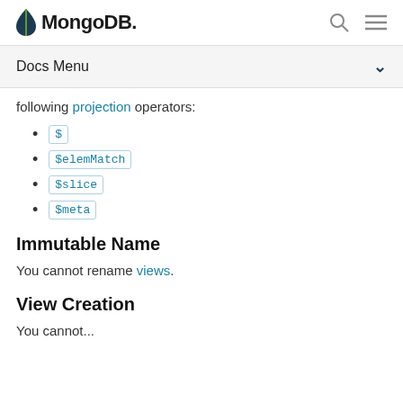MongoDB
Docs Menu
following projection operators:
$
$elemMatch
$slice
$meta
Immutable Name
You cannot rename views.
View Creation
You cannot...